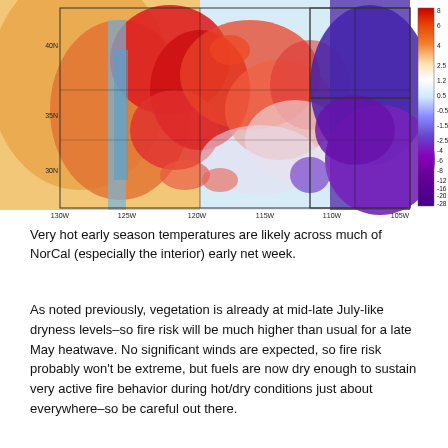[Figure (map): Weather temperature anomaly map of the western United States showing color-coded temperature departures. Reds and oranges indicate above-normal temperatures across NorCal and much of the west, blues and purples indicate below-normal temperatures in the central/eastern portions. Color scale on right ranges from -28 to 8. Latitude lines at 40N, 35N, 30N; longitude lines at 130W, 125W, 120W, 115W, 110W, 105W.]
Very hot early season temperatures are likely across much of NorCal (especially the interior) early net week.
As noted previously, vegetation is already at mid-late July-like dryness levels–so fire risk will be much higher than usual for a late May heatwave. No significant winds are expected, so fire risk probably won't be extreme, but fuels are now dry enough to sustain very active fire behavior during hot/dry conditions just about everywhere–so be careful out there.